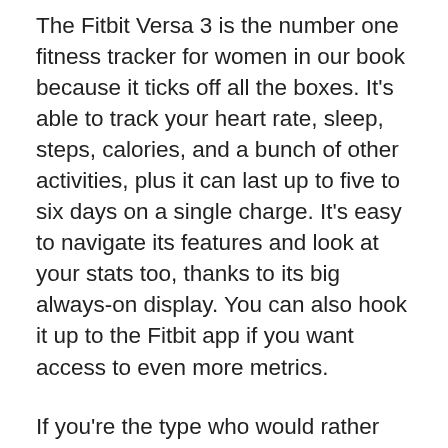The Fitbit Versa 3 is the number one fitness tracker for women in our book because it ticks off all the boxes. It's able to track your heart rate, sleep, steps, calories, and a bunch of other activities, plus it can last up to five to six days on a single charge. It's easy to navigate its features and look at your stats too, thanks to its big always-on display. You can also hook it up to the Fitbit app if you want access to even more metrics.
If you're the type who would rather work up a sweat outdoors than inside the gym, the Versa 3 has built-in GPS so that you can track your swims, hikes, and biking trips. You can also pump yourself up with your favorite